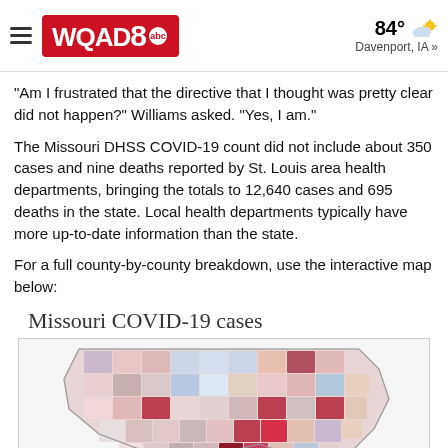WQAD8 abc | 84° Davenport, IA »
“Am I frustrated that the directive that I thought was pretty clear did not happen?” Williams asked. “Yes, I am.”
The Missouri DHSS COVID-19 count did not include about 350 cases and nine deaths reported by St. Louis area health departments, bringing the totals to 12,640 cases and 695 deaths in the state. Local health departments typically have more up-to-date information than the state.
For a full county-by-county breakdown, use the interactive map below:
Missouri COVID-19 cases
[Figure (map): Interactive choropleth map of Missouri showing COVID-19 cases by county, with counties shaded in varying intensities of red and blue indicating case counts.]